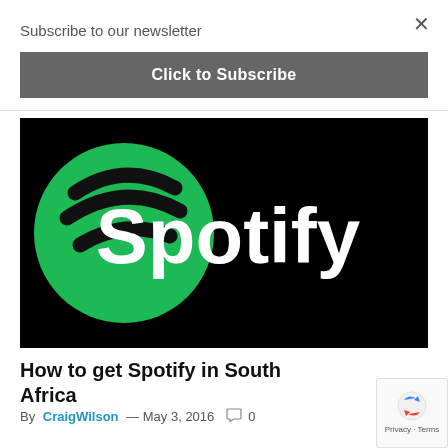×
Subscribe to our newsletter
Click to Subscribe
[Figure (logo): Spotify logo on black background — green circular icon with three horizontal curved lines on the left, and white 'Spotify' wordmark text on the right]
How to get Spotify in South Africa
By CraigWilson — May 3, 2016  ◯ 0
[Figure (logo): Google reCAPTCHA badge with blue/red arrow icon and 'Privacy · Terms' text]